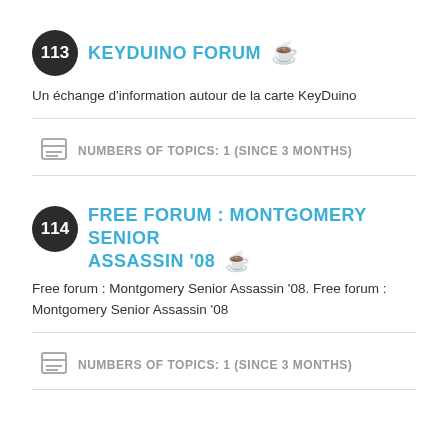113 KEYDUINO FORUM
Un échange d'information autour de la carte KeyDuino
NUMBERS OF TOPICS: 1 (SINCE 3 MONTHS)
114 FREE FORUM : MONTGOMERY SENIOR ASSASSIN '08
Free forum : Montgomery Senior Assassin '08. Free forum : Montgomery Senior Assassin '08
NUMBERS OF TOPICS: 1 (SINCE 3 MONTHS)